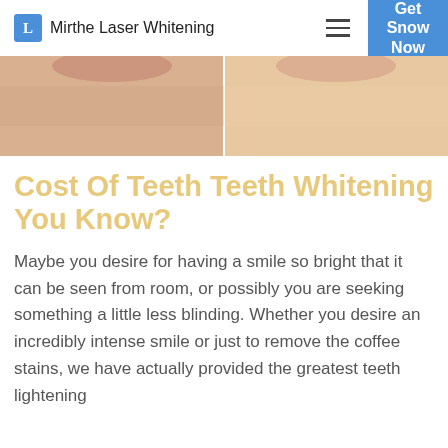Mirthe Laser Whitening | Get Snow Now
[Figure (photo): Close-up before-and-after photo of a person's lower face/chin area, split vertically, showing skin comparison for teeth whitening context.]
Cost Of Teeth Teeth Whitening You Know?
Maybe you desire for having a smile so bright that it can be seen from room, or possibly you are seeking something a little less blinding. Whether you desire an incredibly intense smile or just to remove the coffee stains, we have actually provided the greatest teeth lightening